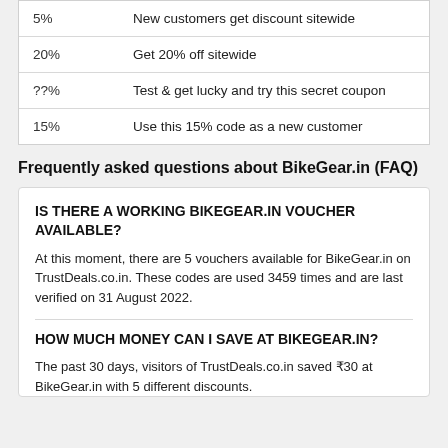| Discount | Description |
| --- | --- |
| 5% | New customers get discount sitewide |
| 20% | Get 20% off sitewide |
| ??% | Test & get lucky and try this secret coupon |
| 15% | Use this 15% code as a new customer |
Frequently asked questions about BikeGear.in (FAQ)
IS THERE A WORKING BIKEGEAR.IN VOUCHER AVAILABLE?
At this moment, there are 5 vouchers available for BikeGear.in on TrustDeals.co.in. These codes are used 3459 times and are last verified on 31 August 2022.
HOW MUCH MONEY CAN I SAVE AT BIKEGEAR.IN?
The past 30 days, visitors of TrustDeals.co.in saved ₹30 at BikeGear.in with 5 different discounts.